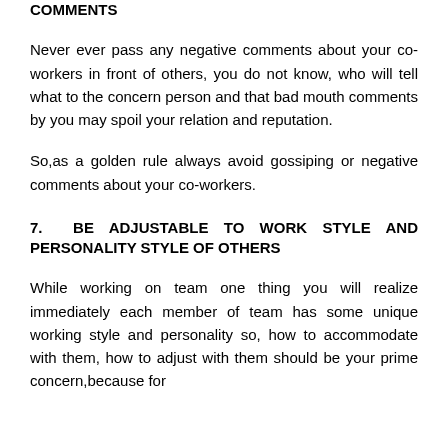COMMENTS
Never ever pass any negative comments about your co-workers in front of others, you do not know, who will tell what to the concern person and that bad mouth comments by you may spoil your relation and reputation.
So,as a golden rule always avoid gossiping or negative comments about your co-workers.
7. BE ADJUSTABLE TO WORK STYLE AND PERSONALITY STYLE OF OTHERS
While working on team one thing you will realize immediately each member of team has some unique working style and personality so, how to accommodate with them, how to adjust with them should be your prime concern,because for